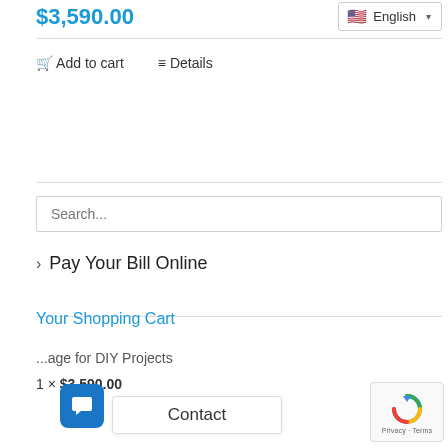$3,590.00
English
Add to cart
Details
Search...
Pay Your Bill Online
Your Shopping Cart
...age for DIY Projects
1 × $3,590.00
Contact